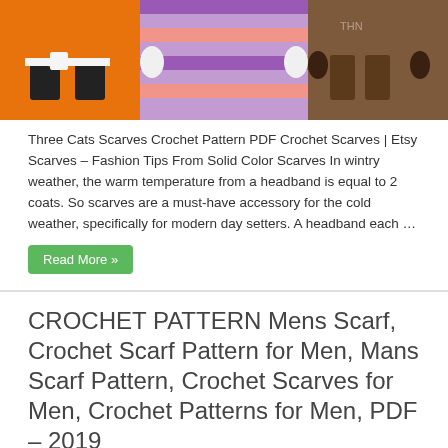[Figure (photo): Three colorful knitted/crocheted stuffed animal scarves - orange, purple/pink striped, and brown, displayed against a white background.]
Three Cats Scarves Crochet Pattern PDF Crochet Scarves | Etsy Scarves – Fashion Tips From Solid Color Scarves In wintry weather, the warm temperature from a headband is equal to 2 coats. So scarves are a must-have accessory for the cold weather, specifically for modern day setters. A headband each …
Read More »
CROCHET PATTERN Mens Scarf, Crochet Scarf Pattern for Men, Mans Scarf Pattern, Crochet Scarves for Men, Crochet Patterns for Men, PDF – 2019
June 29, 2019   Scarves for men   0   111
[Figure (photo): A dark brown/grey textured crocheted cowl or neck warmer scarf photographed from above on a light surface.]